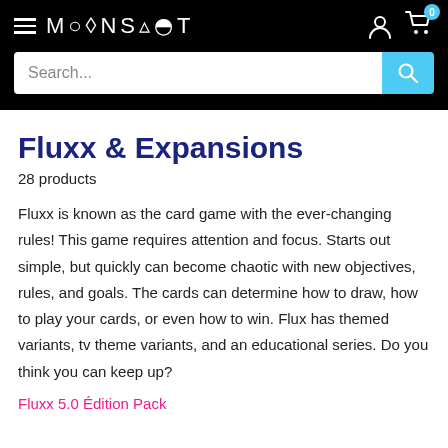MOONSHOT — navigation header with search bar
Fluxx & Expansions
28 products
Fluxx is known as the card game with the ever-changing rules! This game requires attention and focus. Starts out simple, but quickly can become chaotic with new objectives, rules, and goals. The cards can determine how to draw, how to play your cards, or even how to win. Flux has themed variants, tv theme variants, and an educational series. Do you think you can keep up?
Fluxx 5.0 Édition Pack…